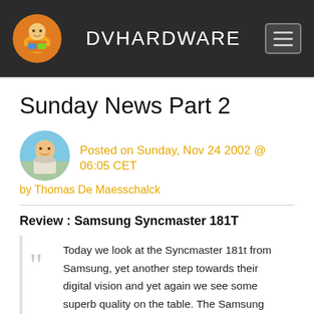DVHARDWARE
Sunday News Part 2
Posted on Sunday, Nov 24 2002 @ 06:05 CET
by Thomas De Maesschalck
Review : Samsung Syncmaster 181T
Today we look at the Syncmaster 181t from Samsung, yet another step towards their digital vision and yet again we see some superb quality on the table. The Samsung name is starting to become synonymous with TFT LCD monitors; continuously building on